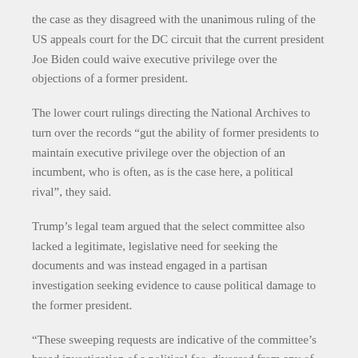the case as they disagreed with the unanimous ruling of the US appeals court for the DC circuit that the current president Joe Biden could waive executive privilege over the objections of a former president.
The lower court rulings directing the National Archives to turn over the records “gut the ability of former presidents to maintain executive privilege over the objection of an incumbent, who is often, as is the case here, a political rival”, they said.
Trump’s legal team argued that the select committee also lacked a legitimate, legislative need for seeking the documents and was instead engaged in a partisan investigation seeking evidence to cause political damage to the former president.
“These sweeping requests are indicative of the committee’s broad investigation of a political foe, divorced from any of Congress’s legislative functions,” Trump’s lawyers said of the panel.